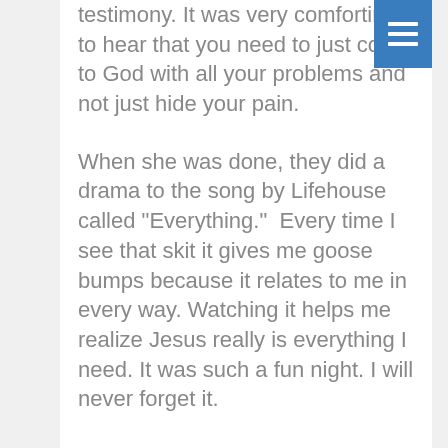testimony. It was very comforting to hear that you need to just come to God with all your problems and not just hide your pain.
When she was done, they did a drama to the song by Lifehouse called "Everything." Every time I see that skit it gives me goose bumps because it relates to me in every way. Watching it helps me realize Jesus really is everything I need. It was such a fun night. I will never forget it.
I am having one of the best times of my life here in the Dominican Republic, and